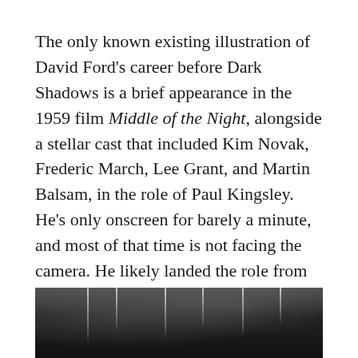The only known existing illustration of David Ford's career before Dark Shadows is a brief appearance in the 1959 film Middle of the Night, alongside a stellar cast that included Kim Novak, Frederic March, Lee Grant, and Martin Balsam, in the role of Paul Kingsley. He's only onscreen for barely a minute, and most of that time is not facing the camera. He likely landed the role from having been stage manager of the original Broadway production, which ran from February 8, 1956 to May 25, 1957.
[Figure (photo): Black and white photograph, partially visible at bottom of page, showing what appears to be an interior scene with hanging lights or objects visible against a dark background.]